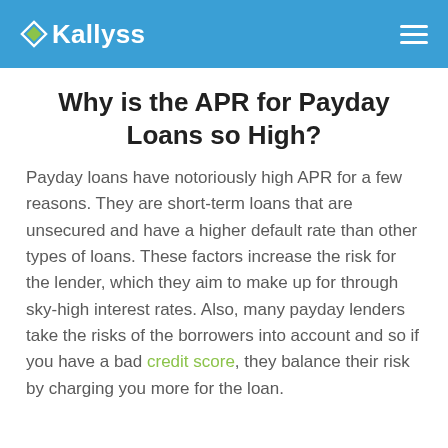Kallyss
Why is the APR for Payday Loans so High?
Payday loans have notoriously high APR for a few reasons. They are short-term loans that are unsecured and have a higher default rate than other types of loans. These factors increase the risk for the lender, which they aim to make up for through sky-high interest rates. Also, many payday lenders take the risks of the borrowers into account and so if you have a bad credit score, they balance their risk by charging you more for the loan.